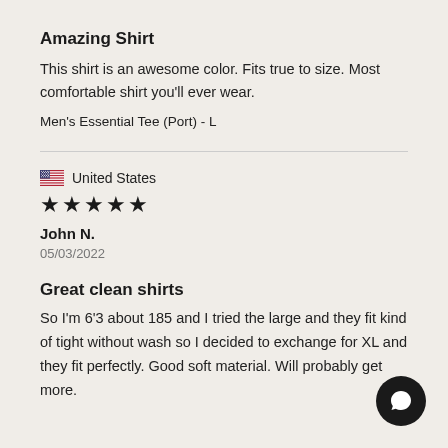Amazing Shirt
This shirt is an awesome color. Fits true to size. Most comfortable shirt you'll ever wear.
Men's Essential Tee (Port) - L
United States
★★★★★
John N.
05/03/2022
Great clean shirts
So I'm 6'3 about 185 and I tried the large and they fit kind of tight without wash so I decided to exchange for XL and they fit perfectly. Good soft material. Will probably get more.